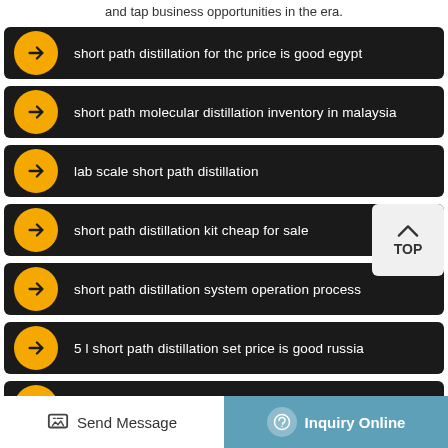and tap business opportunities in the era.
short path distillation for thc price is good egypt
short path molecular distillation inventory in malaysia
lab scale short path distillation
short path distillation kit cheap for sale
short path distillation system operation process
5 l short path distillation set price is good russia
short path distillation inventory italy
Send Message
Inquiry Online